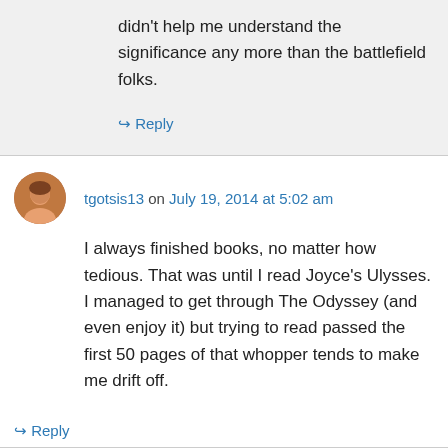didn't help me understand the significance any more than the battlefield folks.
↳ Reply
tgotsis13 on July 19, 2014 at 5:02 am
I always finished books, no matter how tedious. That was until I read Joyce's Ulysses. I managed to get through The Odyssey (and even enjoy it) but trying to read passed the first 50 pages of that whopper tends to make me drift off.
↳ Reply